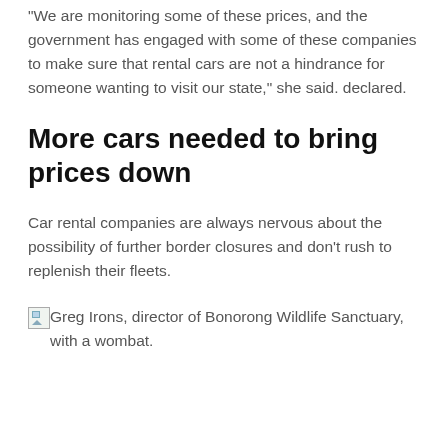“We are monitoring some of these prices, and the government has engaged with some of these companies to make sure that rental cars are not a hindrance for someone wanting to visit our state,” she said. declared.
More cars needed to bring prices down
Car rental companies are always nervous about the possibility of further border closures and don’t rush to replenish their fleets.
[Figure (photo): Broken image placeholder for Greg Irons, director of Bonorong Wildlife Sanctuary, with a wombat.]
Greg Irons, director of Bonorong Wildlife Sanctuary, with a wombat.